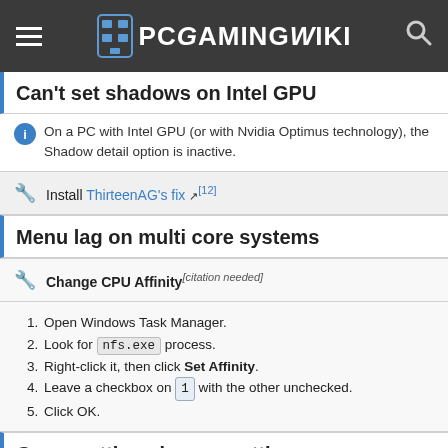PCGamingWiki
Can't set shadows on Intel GPU
On a PC with Intel GPU (or with Nvidia Optimus technology), the Shadow detail option is inactive.
Install ThirteenAG's fix [12]
Menu lag on multi core systems
Change CPU Affinity [citation needed]
1. Open Windows Task Manager.
2. Look for nfs.exe process.
3. Right-click it, then click Set Affinity.
4. Leave a checkbox on 1 with the other unchecked.
5. Click OK.
Game settings keep resetting